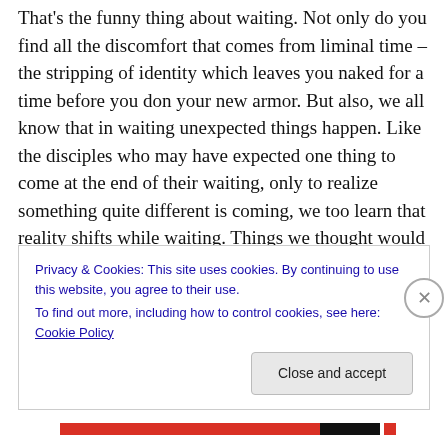That's the funny thing about waiting. Not only do you find all the discomfort that comes from liminal time – the stripping of identity which leaves you naked for a time before you don your new armor. But also, we all know that in waiting unexpected things happen. Like the disciples who may have expected one thing to come at the end of their waiting, only to realize something quite different is coming, we too learn that reality shifts while waiting. Things we thought would matter when we were done waiting stop mattering. Truths we held to be unshakeable get shaken up while waiting. Once unappreciated
Privacy & Cookies: This site uses cookies. By continuing to use this website, you agree to their use.
To find out more, including how to control cookies, see here: Cookie Policy